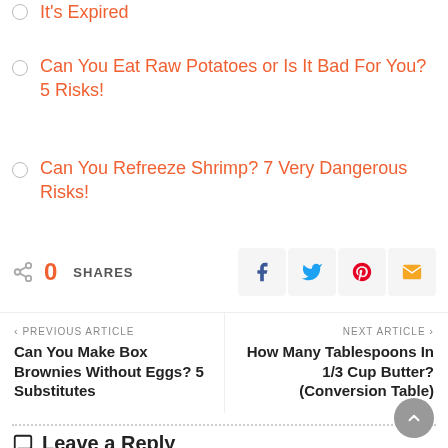It's Expired
Can You Eat Raw Potatoes or Is It Bad For You? 5 Risks!
Can You Refreeze Shrimp? 7 Very Dangerous Risks!
0 SHARES
Previous Article: Can You Make Box Brownies Without Eggs? 5 Substitutes
Next Article: How Many Tablespoons In 1/3 Cup Butter? (Conversion Table)
Leave a Reply